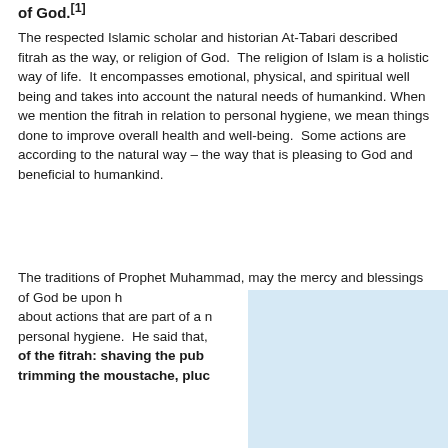of God.[1]
The respected Islamic scholar and historian At-Tabari described fitrah as the way, or religion of God.  The religion of Islam is a holistic way of life.  It encompasses emotional, physical, and spiritual well being and takes into account the natural needs of humankind. When we mention the fitrah in relation to personal hygiene, we mean things done to improve overall health and well-being.  Some actions are according to the natural way – the way that is pleasing to God and beneficial to humankind.
The traditions of Prophet Muhammad, may the mercy and blessings of God be upon h... about actions that are part of a ... personal hygiene.  He said that, ... of the fitrah: shaving the pub... trimming the moustache, pluc...